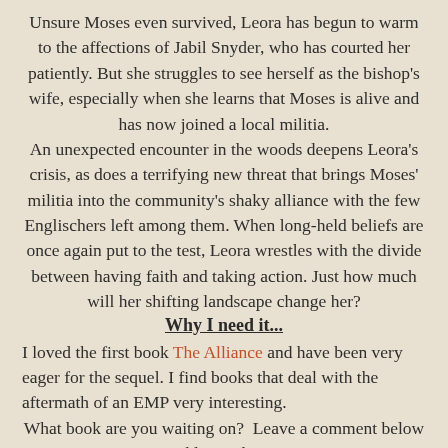Unsure Moses even survived, Leora has begun to warm to the affections of Jabil Snyder, who has courted her patiently. But she struggles to see herself as the bishop's wife, especially when she learns that Moses is alive and has now joined a local militia.
An unexpected encounter in the woods deepens Leora's crisis, as does a terrifying new threat that brings Moses' militia into the community's shaky alliance with the few Englischers left among them. When long-held beliefs are once again put to the test, Leora wrestles with the divide between having faith and taking action. Just how much will her shifting landscape change her?
Why I need it...
I loved the first book The Alliance and have been very eager for the sequel. I find books that deal with the aftermath of an EMP very interesting.
What book are you waiting on?  Leave a comment below and let me know.